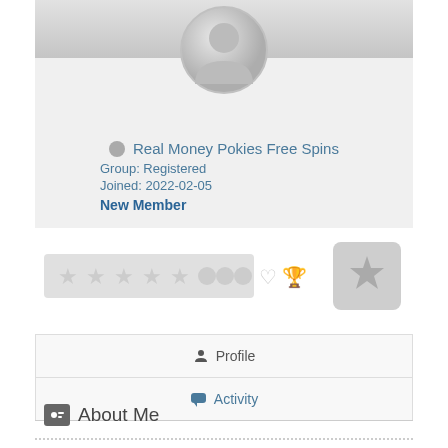[Figure (screenshot): User profile avatar — default grey person silhouette in a circle]
[Figure (other): Dark grey play button icon (triangle in square)]
Real Money Pokies Free Spins
Group: Registered
Joined: 2022-02-05
New Member
[Figure (other): Row of rating stars and badge icons, plus a badge button with a lightning bolt]
Profile
Activity
About Me